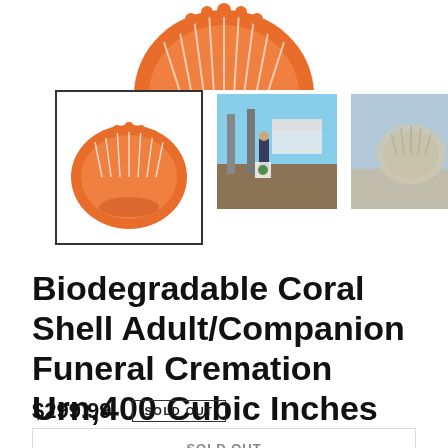[Figure (photo): Top portion of a biodegradable coral shell cremation urn, orange and white scallop shell shape, partially visible at top of page]
[Figure (photo): Thumbnail 1: Close-up of orange and white coral scallop shell urn with border]
[Figure (photo): Thumbnail 2: Person at a marina/dock holding the shell urn product]
[Figure (photo): Thumbnail 3: Shell urn shown underwater or in sandy environment]
Biodegradable Coral Shell Adult/Companion Funeral Cremation Urn,400 Cubic Inches
$299.99
SOLD OUT
SOLD OUT